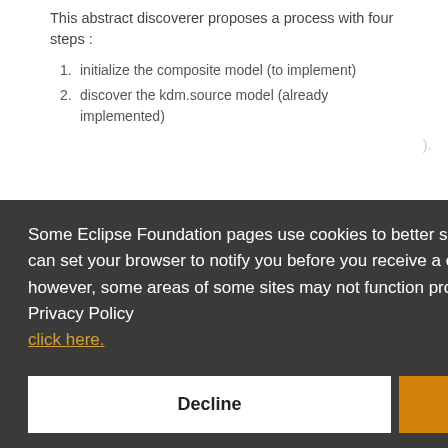This abstract discoverer proposes a process with four steps :
1. initialize the composite model (to implement)
2. discover the kdm.source model (already implemented)
[partially obscured line ending with ].
Some Eclipse Foundation pages use cookies to better serve you when you return to the site. You can set your browser to notify you before you receive a cookie or turn off cookies. If you do so, however, some areas of some sites may not function properly. To read Eclipse Foundation Privacy Policy click here.
Decline
Allow cookies
There are two ways for a composite discoverer to